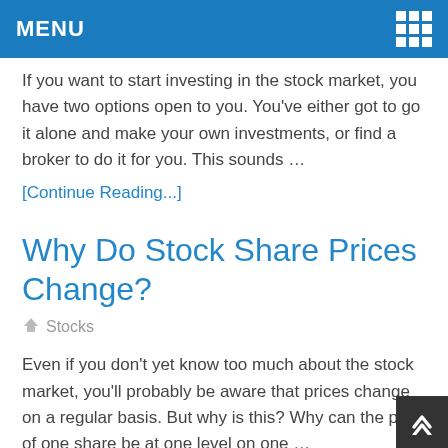MENU
If you want to start investing in the stock market, you have two options open to you. You've either got to go it alone and make your own investments, or find a broker to do it for you. This sounds …
[Continue Reading...]
Why Do Stock Share Prices Change?
Stocks
Even if you don't yet know too much about the stock market, you'll probably be aware that prices change on a regular basis. But why is this? Why can the price of one share be at one level on one …